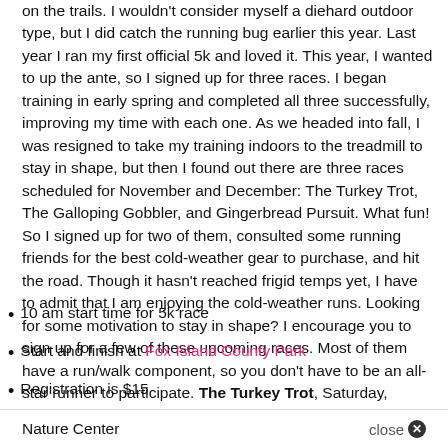on the trails. I wouldn't consider myself a diehard outdoor type, but I did catch the running bug earlier this year. Last year I ran my first official 5k and loved it. This year, I wanted to up the ante, so I signed up for three races. I began training in early spring and completed all three successfully, improving my time with each one. As we headed into fall, I was resigned to take my training indoors to the treadmill to stay in shape, but then I found out there are three races scheduled for November and December: The Turkey Trot, The Galloping Gobbler, and Gingerbread Pursuit. What fun! So I signed up for two of them, consulted some running friends for the best cold-weather gear to purchase, and hit the road. Though it hasn't reached frigid temps yet, I have to admit that I am enjoying the cold-weather runs. Looking for some motivation to stay in shape? I encourage you to sign up for a few of these upcoming races. Most of them have a run/walk component, so you don't have to be an all-star runner to participate. The Turkey Trot, Saturday, November 17
10 am start time for 5k race
Start and finish at Fox Island County Park
Registration is $15
All proceeds benefit Fox Island County Park
Nature Center
close ✕